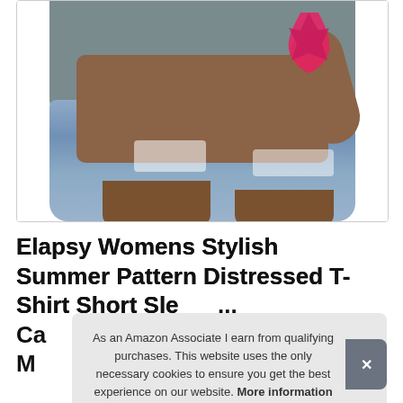[Figure (photo): Product photo showing a woman wearing a gray distressed graphic T-shirt with a pink graphic and ripped light blue denim shorts. Only the torso and upper thighs are visible.]
Elapsy Womens Stylish Summer Pattern Distressed T-Shirt Short Sle... Ca... M...
As an Amazon Associate I earn from qualifying purchases. This website uses the only necessary cookies to ensure you get the best experience on our website. More information